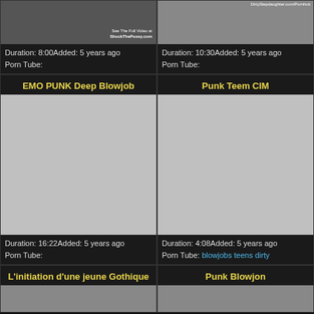[Figure (photo): Top-left video thumbnail, dark/blurred]
Duration: 8:00Added: 5 years ago
Porn Tube:
[Figure (photo): Top-right video thumbnail with DirtyStepdaughter.com/Pornhub watermark]
Duration: 10:30Added: 5 years ago
Porn Tube:
EMO PUNK Deep Blowjob
Punk Teem CIM
[Figure (photo): Mid-left video thumbnail placeholder (gray)]
Duration: 16:22Added: 5 years ago
Porn Tube:
[Figure (photo): Mid-right video thumbnail placeholder (gray)]
Duration: 4:08Added: 5 years ago
Porn Tube: blowjobs teens dirty
L'initiation d'une jeune Gothique
Punk Blowjon
[Figure (photo): Bottom-left video thumbnail placeholder]
[Figure (photo): Bottom-right video thumbnail placeholder]